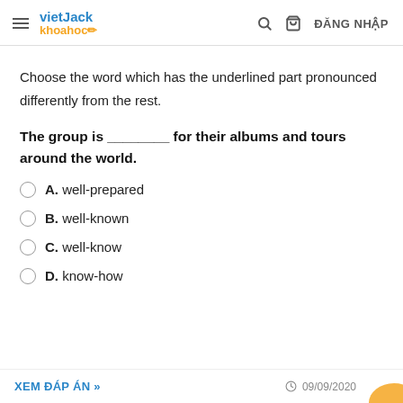vietJack khoahoc — ĐĂNG NHẬP
Choose the word which has the underlined part pronounced differently from the rest.
The group is ________ for their albums and tours around the world.
A. well-prepared
B. well-known
C. well-know
D. know-how
XEM ĐÁP ÁN » 09/09/2020